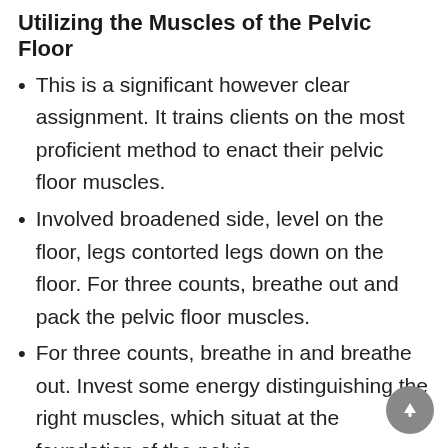Utilizing the Muscles of the Pelvic Floor
This is a significant however clear assignment. It trains clients on the most proficient method to enact their pelvic floor muscles.
Involved broadened side, level on the floor, legs contorted legs down on the floor. For three counts, breathe out and pack the pelvic floor muscles.
For three counts, breathe in and breathe out. Invest some energy distinguishing the right muscles, which situat at the foundation of the pelvis.
Different powers, like those of the stomach, posterior, and legs, might be